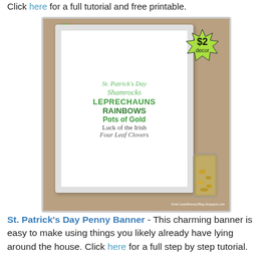Click here for a full tutorial and free printable.
[Figure (photo): Photo of a white picture frame containing a St. Patrick's Day themed printable with text: St. Patrick's Day, Shamrocks, LEPRECHAUNS, RAINBOWS, Pots of Gold, Luck of the Irish, Four Leaf Clovers. A green starburst badge says '$2 decor'. A green flower decoration is in the top-left corner. A glass jar filled with gold coins sits to the right of the frame. Watermark reads EastCoastMommyBlog.blogspot.com.]
St. Patrick's Day Penny Banner - This charming banner is easy to make using things you likely already have lying around the house. Click here for a full step by step tutorial.